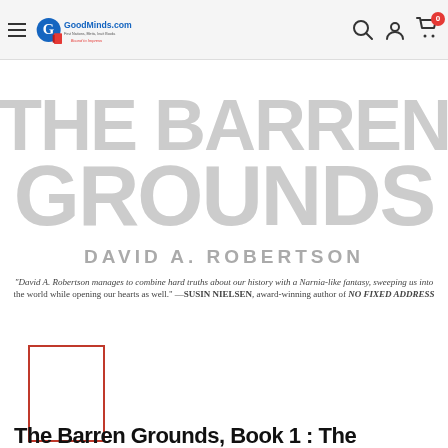[Figure (screenshot): GoodMinds.com website header with hamburger menu, logo (G GoodMinds.com - First Nations, Metis, Inuit Books - Bound to Impress), search icon, account icon, and cart icon with badge showing 0]
[Figure (photo): Book cover of 'The Barren Grounds' by David A. Robertson. Shows large grey text 'THE BARREN GROUNDS' and author name 'DAVID A. ROBERTSON'. A blurb reads: 'David A. Robertson manages to combine hard truths about our history with a Narnia-like fantasy, sweeping us into the world while opening our hearts as well.' —SUSIN NIELSEN, award-winning author of NO FIXED ADDRESS]
[Figure (photo): Small thumbnail/secondary image of the book cover shown in a red-bordered box]
The Barren Grounds, Book 1 : The